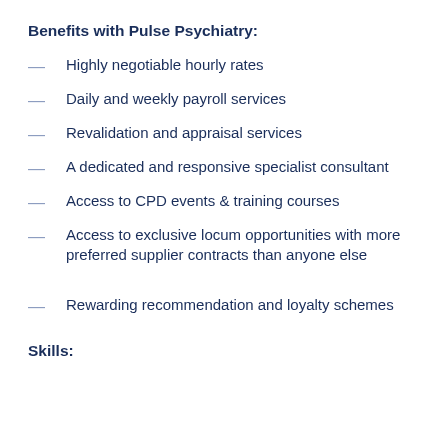Benefits with Pulse Psychiatry:
Highly negotiable hourly rates
Daily and weekly payroll services
Revalidation and appraisal services
A dedicated and responsive specialist consultant
Access to CPD events & training courses
Access to exclusive locum opportunities with more preferred supplier contracts than anyone else
Rewarding recommendation and loyalty schemes
Skills: